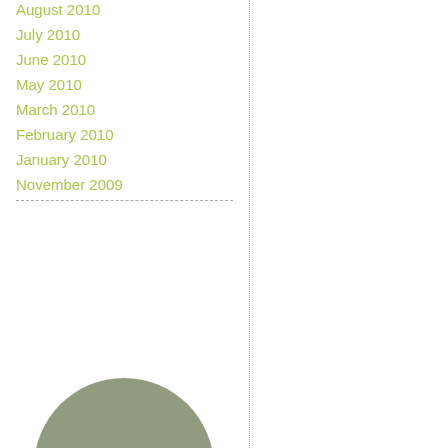August 2010
July 2010
June 2010
May 2010
March 2010
February 2010
January 2010
November 2009
[Figure (illustration): A rounded circular shape in muted olive/grey-green color, partially visible at the bottom of the left column]